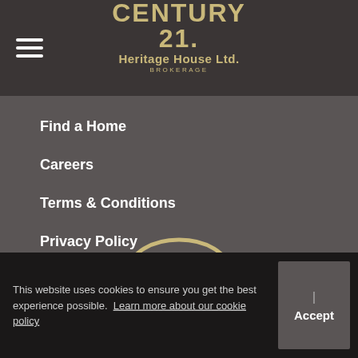CENTURY 21. Heritage House Ltd. BROKERAGE
Find a Home
Careers
Terms & Conditions
Privacy Policy
[Figure (infographic): Social media icons row: Facebook, Twitter, Instagram, YouTube]
This website uses cookies to ensure you get the best experience possible. Learn more about our cookie policy
| Accept